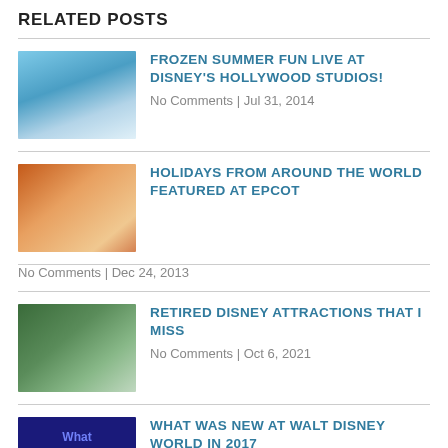RELATED POSTS
FROZEN SUMMER FUN LIVE AT DISNEY'S HOLLYWOOD STUDIOS! | No Comments | Jul 31, 2014
HOLIDAYS FROM AROUND THE WORLD FEATURED AT EPCOT | No Comments | Dec 24, 2013
RETIRED DISNEY ATTRACTIONS THAT I MISS | No Comments | Oct 6, 2021
WHAT WAS NEW AT WALT DISNEY WORLD IN 2017 | No Comments | Jan 9, 2018
ABOUT THE AUTHOR
JenniferP